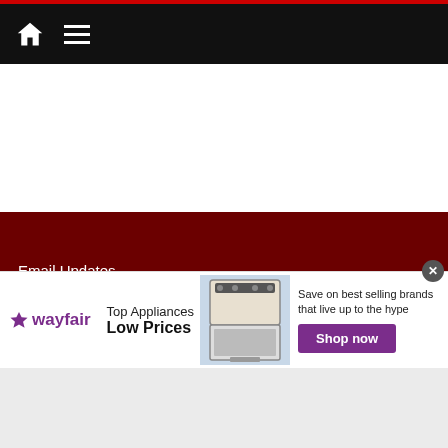Navigation bar with home and menu icons
Email Updates
Resources
Feedback
About Scott Michaels
Dearly Departed Newsletters
[Figure (screenshot): infolinks badge]
[Figure (screenshot): Wayfair advertisement - Top Appliances Low Prices, Save on best selling brands that live up to the hype, Shop now button]